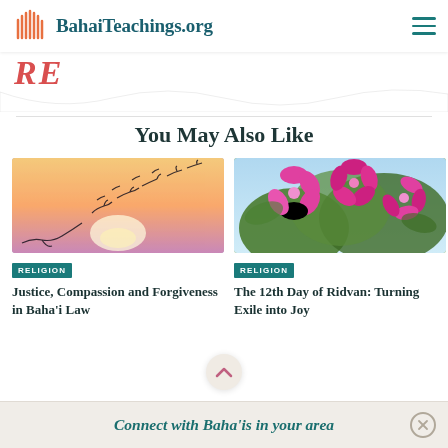BahaiTeachings.org
RE
You May Also Like
[Figure (photo): Birds transforming from chains into free-flying birds against a sunset sky]
RELIGION
Justice, Compassion and Forgiveness in Baha'i Law
[Figure (photo): Close-up of bright pink azalea flowers with green leaves against blue sky]
RELIGION
The 12th Day of Ridvan: Turning Exile into Joy
Connect with Baha'is in your area